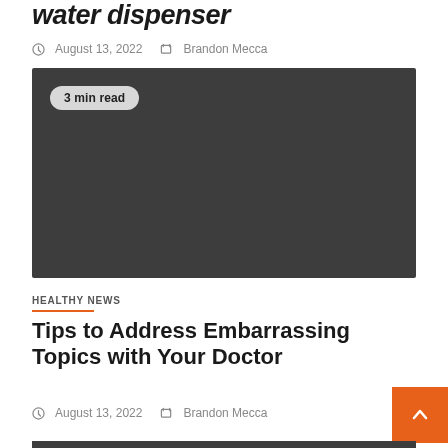water dispenser
August 13, 2022   Brandon Mecca
[Figure (photo): Dark gray image placeholder with '3 min read' badge in the upper left corner]
HEALTHY NEWS
Tips to Address Embarrassing Topics with Your Doctor
August 13, 2022   Brandon Mecca